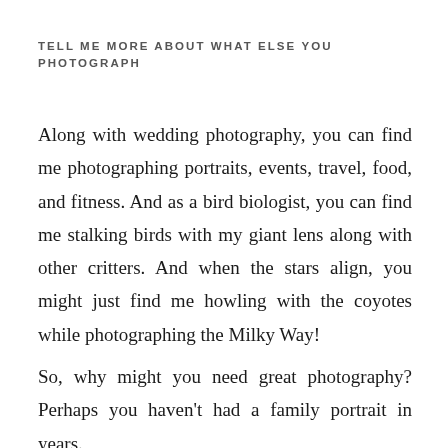TELL ME MORE ABOUT WHAT ELSE YOU PHOTOGRAPH
Along with wedding photography, you can find me photographing portraits, events, travel, food, and fitness. And as a bird biologist, you can find me stalking birds with my giant lens along with other critters. And when the stars align, you might just find me howling with the coyotes while photographing the Milky Way!
So, why might you need great photography? Perhaps you haven't had a family portrait in years.